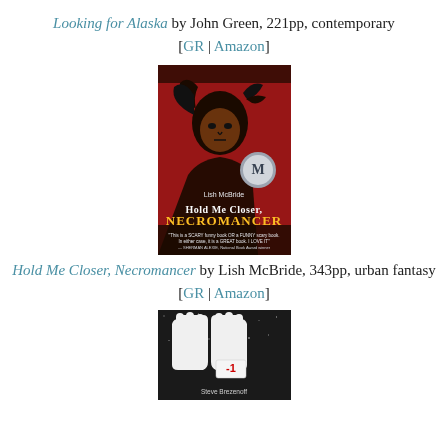Looking for Alaska by John Green, 221pp, contemporary [GR | Amazon]
[Figure (photo): Book cover of Hold Me Closer, Necromancer by Lish McBride. Red background with silhouette of a young man and a raven, title text in white/yellow grunge font, Merrit award seal visible.]
Hold Me Closer, Necromancer by Lish McBride, 343pp, urban fantasy [GR | Amazon]
[Figure (photo): Partial book cover showing white gloves/hands on a dark speckled background, with a label reading '-1' and author name Steve Brezenoff at the bottom.]